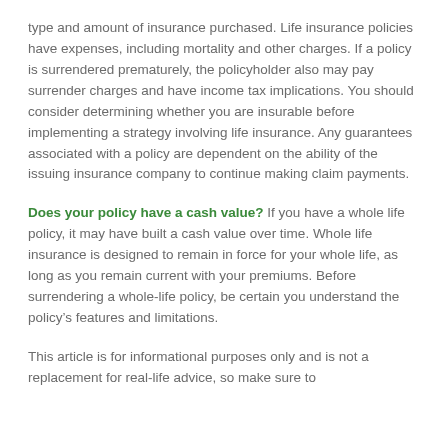type and amount of insurance purchased. Life insurance policies have expenses, including mortality and other charges. If a policy is surrendered prematurely, the policyholder also may pay surrender charges and have income tax implications. You should consider determining whether you are insurable before implementing a strategy involving life insurance. Any guarantees associated with a policy are dependent on the ability of the issuing insurance company to continue making claim payments.
Does your policy have a cash value? If you have a whole life policy, it may have built a cash value over time. Whole life insurance is designed to remain in force for your whole life, as long as you remain current with your premiums. Before surrendering a whole-life policy, be certain you understand the policy’s features and limitations.
This article is for informational purposes only and is not a replacement for real-life advice, so make sure to...